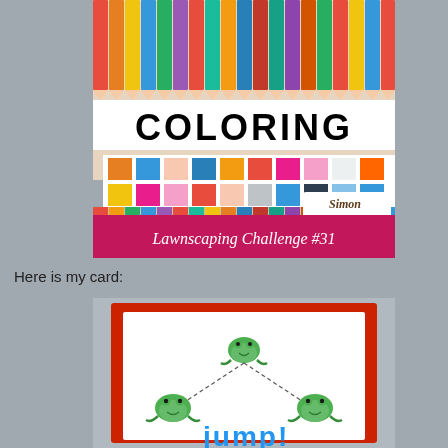[Figure (illustration): Lawnscaping Challenge #31 coloring challenge banner. Top half shows colored pencils in a row. Middle shows 'COLORING' text in large letters with a grid of colorful squares below it. Bottom has a deep pink/magenta banner reading 'Lawnscaping Challenge #31' in white italic text. A Simon Says Stamp logo appears in the lower right. Text 'Sponsored by Simon Says Stamp' appears over the pencils.]
Here is my card:
[Figure (photo): A handmade greeting card with a red border frame on a white background. Three green cartoon frogs are shown jumping with dashed lines indicating their paths. The word 'jump!' is partially visible in blue at the bottom of the card.]